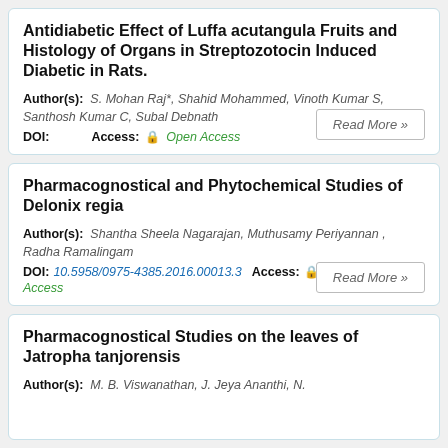Antidiabetic Effect of Luffa acutangula Fruits and Histology of Organs in Streptozotocin Induced Diabetic in Rats.
Author(s): S. Mohan Raj*, Shahid Mohammed, Vinoth Kumar S, Santhosh Kumar C, Subal Debnath
DOI:   Access: Open Access
Pharmacognostical and Phytochemical Studies of Delonix regia
Author(s): Shantha Sheela Nagarajan, Muthusamy Periyannan , Radha Ramalingam
DOI: 10.5958/0975-4385.2016.00013.3   Access: Open Access
Pharmacognostical Studies on the leaves of Jatropha tanjorensis
Author(s): M. B. Viswanathan, J. Jeya Ananthi, N.